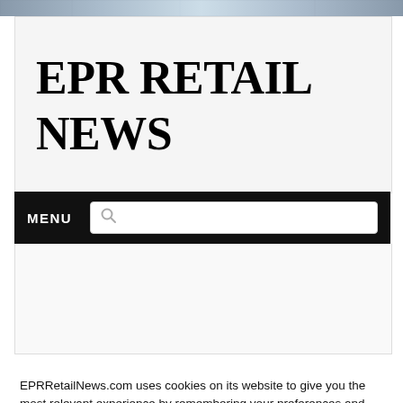[Figure (photo): Top banner image strip showing building/architecture photographs in blue-grey tones]
EPR RETAIL NEWS
MENU [search bar]
EPRRetailNews.com uses cookies on its website to give you the most relevant experience by remembering your preferences and repeat visits. By clicking “Accept”, you consent to the use of ALL the cookies.
Cookie settings | ACCEPT